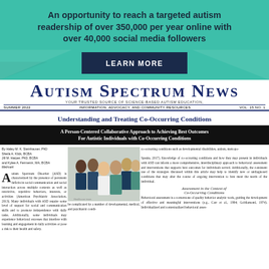An opportunity to reach a targeted autism readership of over 350,000 per year online with over 40,000 social media followers
LEARN MORE
AUTISM SPECTRUM NEWS
YOUR TRUSTED SOURCE OF SCIENCE-BASED AUTISM EDUCATION, INFORMATION, ADVOCACY, AND COMMUNITY RESOURCES
SUMMER 2022   VOL. 15 NO. 1
Understanding and Treating Co-Occurring Conditions
A Person-Centered Collaborative Approach to Achieving Best Outcomes For Autistic Individuals with Co-Occurring Conditions
By Haley M. K. Steinhauser, PhD
Sheila A. Klick, BCBA
Jill M. Harper, PhD, BCBA
and Kylee A. Fermenin, MA, BCBA
Melmark
Autism Spectrum Disorder (ASD) is characterized by the presence of persistent deficits in social communication and social interaction across multiple contexts as well as restrictive, repetitive behaviors, interests, or activities (American Psychiatric Association, 2013). Many individuals with ASD require some level of support for social and communication skills and to promote independence with daily tasks. Additionally, some individuals may experience behavioral excesses that interfere with learning and engagement in daily activities or pose a risk to their health and safety.
[Figure (photo): Group of medical/healthcare professionals smiling, diverse group of about 6 people in scrubs and professional attire]
be complicated by a number of developmental, medical, and psychiatric condi-
co-occurring conditions such as developmental disabilities, autism, metropo-
Speaks, 2017). Knowledge of co-occurring conditions and how they may present in individuals with ASD can inform a more comprehensive, interdisciplinary approach to behavioral assessment and interventions that supports best outcomes for individuals served. Additionally, the consistent use of the strategies discussed within this article may help to identify new or undiagnosed conditions that may alter the course of ongoing intervention to best meet the needs of the individual.
Assessment in the Context of Co-Occurring Conditions
Behavioral assessment is a cornerstone of quality behavior analytic work, guiding the development of effective and meaningful interventions (e.g., Carr et al., 1994; Goldiamond, 1974). Individualized and contextualized behavioral asses-